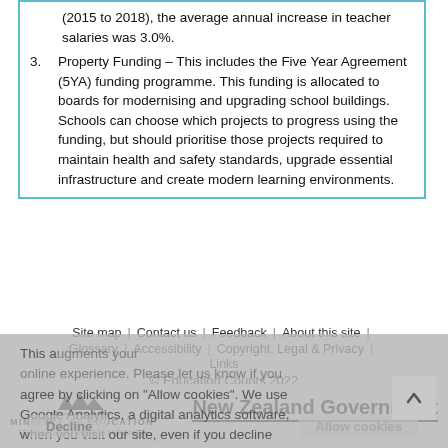(2015 to 2018), the average annual increase in teacher salaries was 3.0%.
Property Funding – This includes the Five Year Agreement (5YA) funding programme. This funding is allocated to boards for modernising and upgrading school buildings. Schools can choose which projects to progress using the funding, but should prioritise those projects required to maintain health and safety standards, upgrade essential infrastructure and create modern learning environments.
This a... online experience. Please let us know if you agree by clicking on "Allow cookies". We use Google Analytics, a digital analytics software, when you visit our site, even if you decline co... using your browser. Adobe ...
Site map | Contact us | Feedback | About this site | Glossary | Accessibility | Copyright, Legal & Privacy | Links
© Education Counts 2022
[Figure (logo): Ministry of Education Te Tāhuhu o te Mātauranga logo with mountain/wave symbol]
[Figure (logo): New Zealand Government logo]